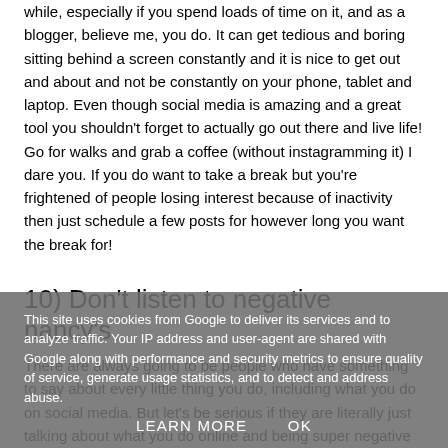while, especially if you spend loads of time on it, and as a blogger, believe me, you do. It can get tedious and boring sitting behind a screen constantly and it is nice to get out and about and not be constantly on your phone, tablet and laptop. Even though social media is amazing and a great tool you shouldn't forget to actually go out there and live life! Go for walks and grab a coffee (without instagramming it) I dare you. If you do want to take a break but you're frightened of people losing interest because of inactivity then just schedule a few posts for however long you want the break for!
10) Don't listen to negative nancy's
There are always going to be people who have something to say about every little thing you do, including what you do on social media. But let's be serious if they are literally just talking about what you do online and being super negative then it say's more about...
This site uses cookies from Google to deliver its services and to analyze traffic. Your IP address and user-agent are shared with Google along with performance and security metrics to ensure quality of service, generate usage statistics, and to detect and address abuse.